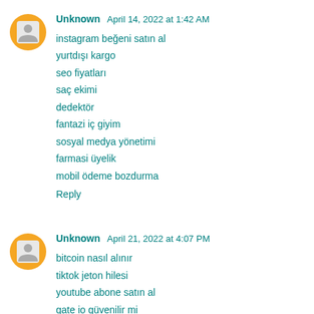Unknown April 14, 2022 at 1:42 AM
instagram beğeni satın al
yurtdışı kargo
seo fiyatları
saç ekimi
dedektör
fantazi iç giyim
sosyal medya yönetimi
farmasi üyelik
mobil ödeme bozdurma
Reply
Unknown April 21, 2022 at 4:07 PM
bitcoin nasıl alınır
tiktok jeton hilesi
youtube abone satın al
gate io güvenilir mi
referans kimliği nedir
tiktok takinci satın al